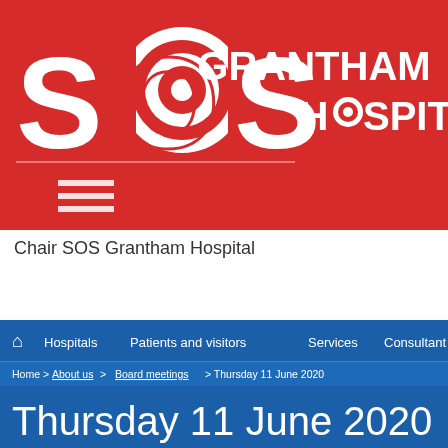[Figure (logo): SOS Grantham Hospital logo on red background with hamburger menu icon]
Chair SOS Grantham Hospital
[Figure (screenshot): Website navigation bar with home icon, Hospitals, Patients and visitors, Services, Consultant links on blue background]
Home > About us > Board meetings > Thursday 11 June 2020
Thursday 11 June 2020